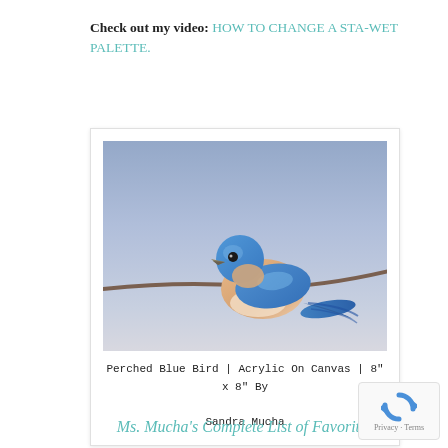Check out my video: HOW TO CHANGE A STA-WET PALETTE.
[Figure (illustration): Painting of a perched bluebird on a branch, acrylic on canvas, 8" x 8" by Sandra Mucha]
Perched Blue Bird | Acrylic On Canvas | 8" x 8" By Sandra Mucha
Ms. Mucha's Complete List of Favorites